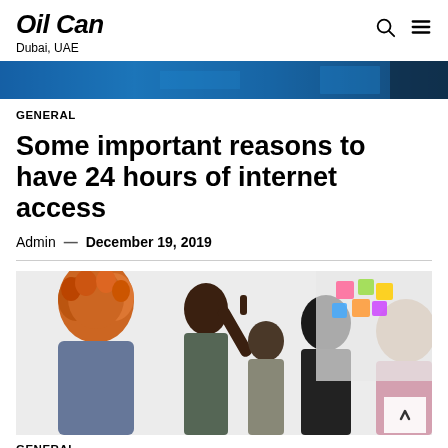Oil Can
Dubai, UAE
[Figure (photo): Blue-toned banner photo strip at top of article, appearing to show industrial or technology scene]
GENERAL
Some important reasons to have 24 hours of internet access
Admin — December 19, 2019
[Figure (photo): Group of people in a meeting or workshop setting; a person with raised finger appears to be speaking, sticky notes visible on wall in background]
GENERAL